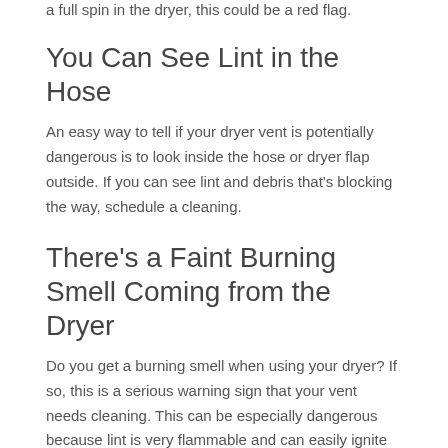a full spin in the dryer, this could be a red flag.
You Can See Lint in the Hose
An easy way to tell if your dryer vent is potentially dangerous is to look inside the hose or dryer flap outside. If you can see lint and debris that's blocking the way, schedule a cleaning.
There's a Faint Burning Smell Coming from the Dryer
Do you get a burning smell when using your dryer? If so, this is a serious warning sign that your vent needs cleaning. This can be especially dangerous because lint is very flammable and can easily ignite with enough consistent heat. If you smell burning, don't ignore it. Avoid using your dryer until the vent